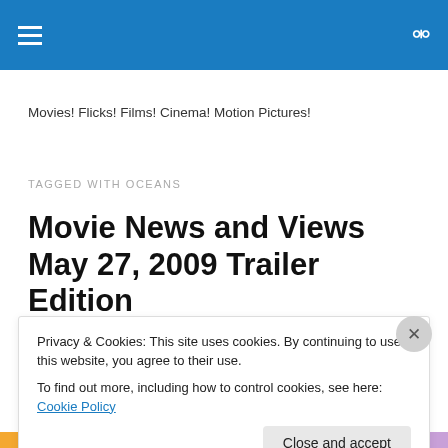Movies! Flicks! Films! Cinema! Motion Pictures!
TAGGED WITH OCEANS
Movie News and Views May 27, 2009 Trailer Edition
Privacy & Cookies: This site uses cookies. By continuing to use this website, you agree to their use.
To find out more, including how to control cookies, see here: Cookie Policy